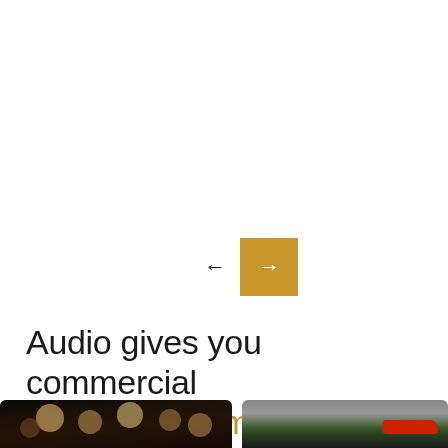[Figure (infographic): Navigation arrows: left arrow (dark) and right arrow (white on gold/brown square button)]
Audio gives you commercial + fan engagement benefits
[Figure (photo): Crowd of fans at an event, cheering with arms raised, dark concert/stadium atmosphere]
[Figure (photo): Racing car on a track, blurred motion, red Formula 1-style car visible]